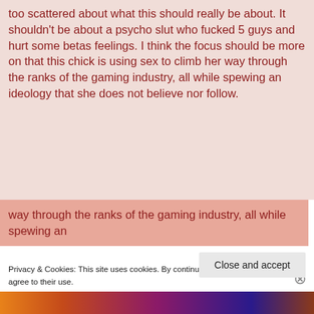too scattered about what this should really be about. It shouldn't be about a psycho slut who fucked 5 guys and hurt some betas feelings. I think the focus should be more on that this chick is using sex to climb her way through the ranks of the gaming industry, all while spewing an ideology that she does not believe nor follow.
way through the ranks of the gaming industry, all while spewing an
Privacy & Cookies: This site uses cookies. By continuing to use this website, you agree to their use.
To find out more, including how to control cookies, see here: Cookie Policy